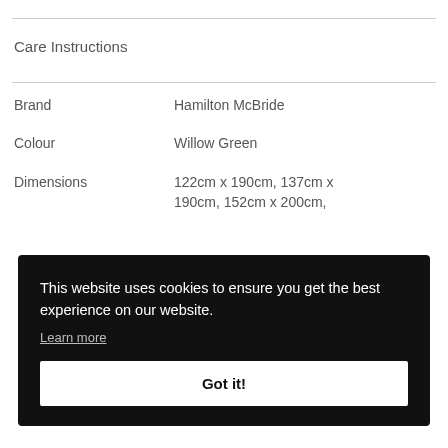Care Instructions
| Field | Value |
| --- | --- |
| Brand | Hamilton McBride |
| Colour | Willow Green |
| Dimensions | 122cm x 190cm, 137cm x 190cm, 152cm x 200cm, |
This website uses cookies to ensure you get the best experience on our website.
Learn more
Got it!